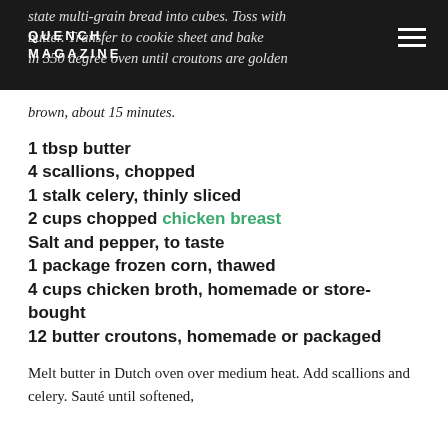QUENCH MAGAZINE
state multi-grain bread into cubes. Toss with butter. Transfer to cookie sheet and bake in 350 degree oven until croutons are golden brown, about 15 minutes.
1 tbsp butter
4 scallions, chopped
1 stalk celery, thinly sliced
2 cups chopped chicken breast
Salt and pepper, to taste
1 package frozen corn, thawed
4 cups chicken broth, homemade or store-bought
12 butter croutons, homemade or packaged
Melt butter in Dutch oven over medium heat. Add scallions and celery. Sauté until softened,